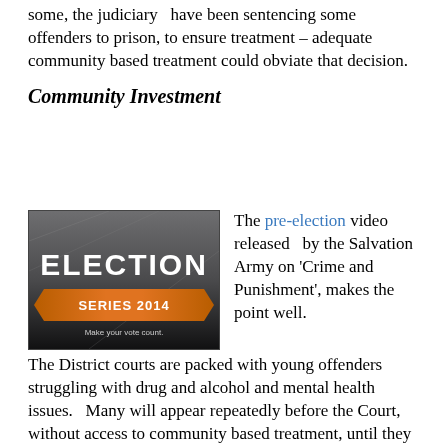some, the judiciary  have been sentencing some offenders to prison, to ensure treatment – adequate community based treatment could obviate that decision.
Community Investment
[Figure (photo): Election Series 2014 video thumbnail with text 'ELECTION SERIES 2014 Make your vote count.' on a dark grey background with an orange banner.]
The pre-election video released  by the Salvation Army on 'Crime and Punishment', makes the point well.
The District courts are packed with young offenders struggling with drug and alcohol and mental health issues.  Many will appear repeatedly before the Court, without access to community based treatment, until they are finally sent to prison – where possibly for the first time, treatment is available.
Four of the six action plans identified in the BPS Reducing Crime and Reoffending Strategy relate to issues raised by the Salvation Army:
Improve assessment and interventions for youth